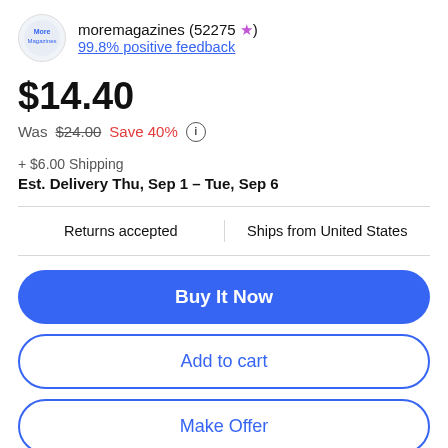moremagazines (52275 ★) 99.8% positive feedback
$14.40
Was $24.00  Save 40% ⓘ
+ $6.00 Shipping
Est. Delivery Thu, Sep 1 - Tue, Sep 6
Returns accepted | Ships from United States
Buy It Now
Add to cart
Make Offer
♡ Watch